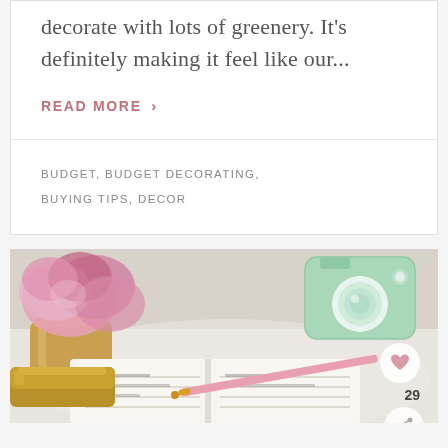decorate with lots of greenery. It's definitely making it feel like our...
READ MORE ›
BUDGET, BUDGET DECORATING, BUYING TIPS, DECOR
[Figure (photo): Styled flat lay with pink flowers in a gold vase, a mint green toy camera, a gold stapler, an open planner/notebook, and a pink pen on a white surface. Heart icon and share icon visible on the right side with count 29.]